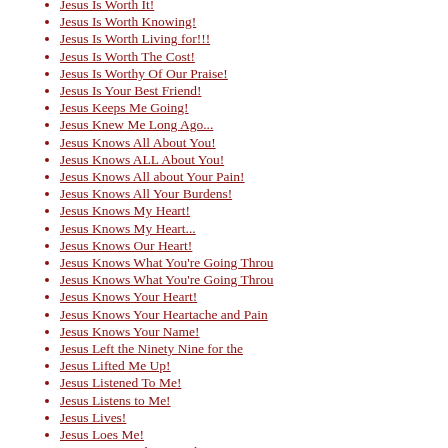Jesus Is Worth It!
Jesus Is Worth Knowing!
Jesus Is Worth Living for!!!
Jesus Is Worth The Cost!
Jesus Is Worthy Of Our Praise!
Jesus Is Your Best Friend!
Jesus Keeps Me Going!
Jesus Knew Me Long Ago...
Jesus Knows All About You!
Jesus Knows ALL About You!
Jesus Knows All about Your Pain!
Jesus Knows All Your Burdens!
Jesus Knows My Heart!
Jesus Knows My Heart...
Jesus Knows Our Heart!
Jesus Knows What You're Going Throu
Jesus Knows What You're Going Throu
Jesus Knows Your Heart!
Jesus Knows Your Heartache and Pain
Jesus Knows Your Name!
Jesus Left the Ninety Nine for the
Jesus Lifted Me Up!
Jesus Listened To Me!
Jesus Listens to Me!
Jesus Lives!
Jesus Loes Me!
Jesus Loves and Cares About YOU!
Jesus Loves Me... Do You?
Jesus Loves My Unworthy Life!
Jesus Loves Us So Much!